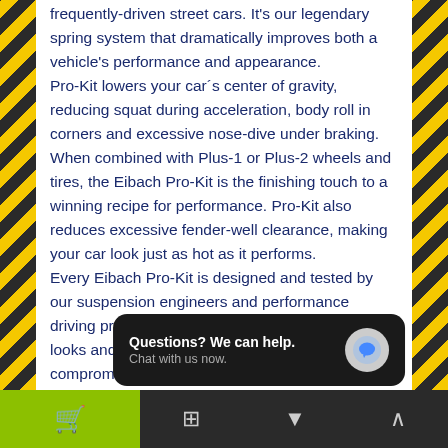frequently-driven street cars. It's our legendary spring system that dramatically improves both a vehicle's performance and appearance.
Pro-Kit lowers your car´s center of gravity, reducing squat during acceleration, body roll in corners and excessive nose-dive under braking. When combined with Plus-1 or Plus-2 wheels and tires, the Eibach Pro-Kit is the finishing touch to a winning recipe for performance. Pro-Kit also reduces excessive fender-well clearance, making your car look just as hot as it performs.
Every Eibach Pro-Kit is designed and tested by our suspension engineers and performance driving professionals, to deliver aggressive good looks and high perform... compromising...